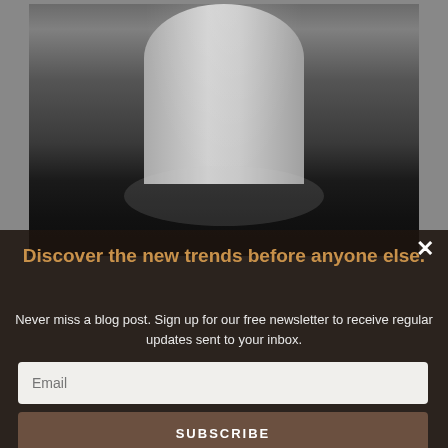[Figure (photo): Interior exhibition space photograph showing a large curved cylindrical white structure in a dark hall with spotlights and black floor.]
Discover the new trends before anyone else.
Never miss a blog post. Sign up for our free newsletter to receive regular updates sent to your inbox.